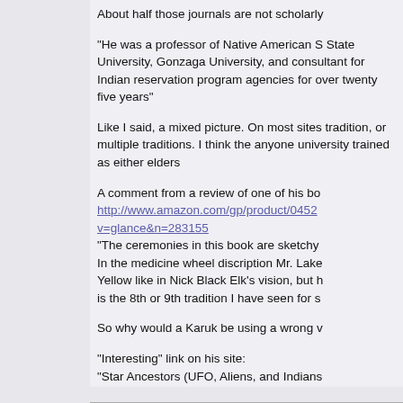About half those journals are not scholarly
"He was a professor of Native American S State University, Gonzaga University, and consultant for Indian reservation program agencies for over twenty five years"
Like I said, a mixed picture. On most sites tradition, or multiple traditions. I think the anyone university trained as either elders
A comment from a review of one of his bo http://www.amazon.com/gp/product/0452 v=glance&n=283155 "The ceremonies in this book are sketchy In the medicine wheel discription Mr. Lake Yellow like in Nick Black Elk's vision, but h is the 8th or 9th tradition I have seen for s
So why would a Karuk be using a wrong v
"Interesting" link on his site:
"Star Ancestors (UFO, Aliens, and Indians